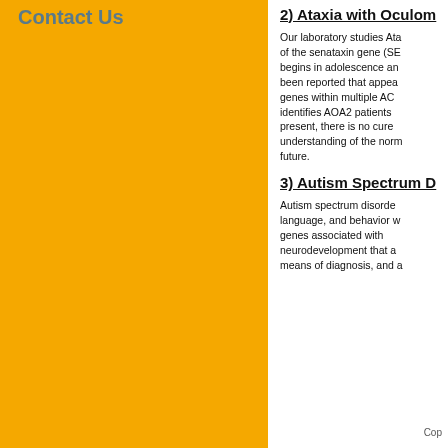Contact Us
2) Ataxia with Oculo...
Our laboratory studies Ata... of the senataxin gene (SE... begins in adolescence ar... been reported that appea... genes within multiple AC... identifies AOA2 patients ... present, there is no cure ... understanding of the norm... future.
3) Autism Spectrum D...
Autism spectrum disorde... language, and behavior w... genes associated with ... neurodevelopment that a... means of diagnosis, and a...
Cop...